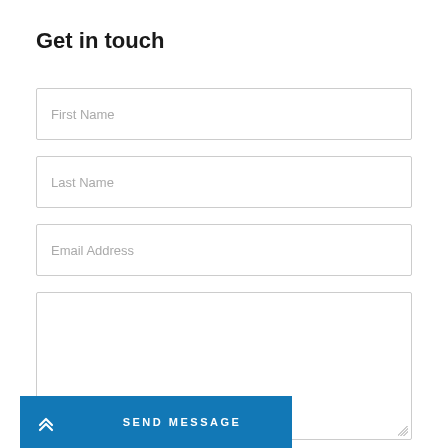Get in touch
First Name
Last Name
Email Address
SEND MESSAGE